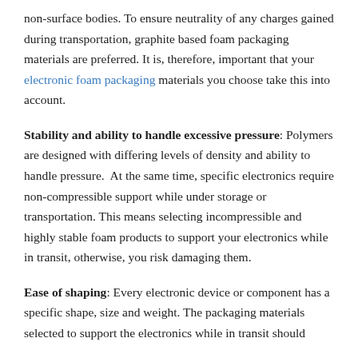non-surface bodies. To ensure neutrality of any charges gained during transportation, graphite based foam packaging materials are preferred. It is, therefore, important that your electronic foam packaging materials you choose take this into account.
Stability and ability to handle excessive pressure: Polymers are designed with differing levels of density and ability to handle pressure.  At the same time, specific electronics require non-compressible support while under storage or transportation. This means selecting incompressible and highly stable foam products to support your electronics while in transit, otherwise, you risk damaging them.
Ease of shaping: Every electronic device or component has a specific shape, size and weight. The packaging materials selected to support the electronics while in transit should